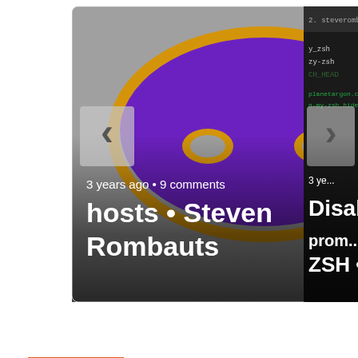[Figure (screenshot): A screenshot of a website carousel showing two cards partially visible. Left card shows a purple masquerade mask on gray background with text '3 years ago • 9 comments' and 'hosts • Steven Rombauts'. A left arrow navigation button is visible. Right card partially visible shows dark terminal/code screenshot with text '2. steverombauts', 'y_zsh', 'zy-zsh', 'CH_HEAD', '3 ye...', 'Disab...', '.planetargon.com/', 'n-my-zsh.hide-status 1', 'prom...', 'ZSH •'. A right arrow navigation button is visible.]
[Figure (other): A short horizontal orange/red decorative line or divider element]